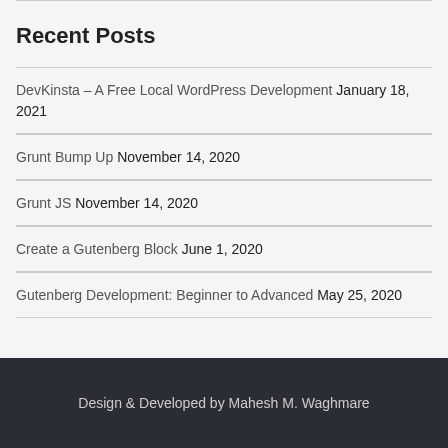Recent Posts
DevKinsta – A Free Local WordPress Development January 18, 2021
Grunt Bump Up November 14, 2020
Grunt JS November 14, 2020
Create a Gutenberg Block June 1, 2020
Gutenberg Development: Beginner to Advanced May 25, 2020
Design & Developed by Mahesh M. Waghmare